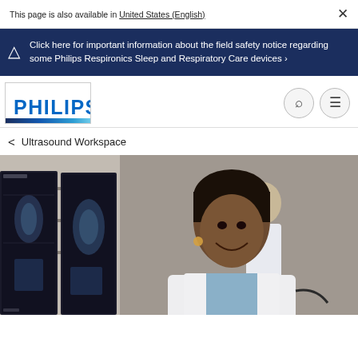This page is also available in United States (English)  ×
Click here for important information about the field safety notice regarding some Philips Respironics Sleep and Respiratory Care devices ›
[Figure (logo): Philips logo with blue text and colored stripe at bottom]
< Ultrasound Workspace
[Figure (photo): Smiling Black female doctor in white coat looking up, with medical imaging screens in background and a male colleague behind her]